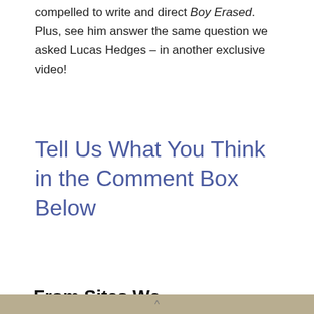compelled to write and direct Boy Erased. Plus, see him answer the same question we asked Lucas Hedges – in another exclusive video!
Tell Us What You Think in the Comment Box Below
From Sites We Love
MORE LIKE THIS»
[Figure (photo): Photo showing a hand holding a white cylindrical object]
[Figure (photo): Photo showing a coastal landscape with yellow flowers, blue ocean, and rocky island]